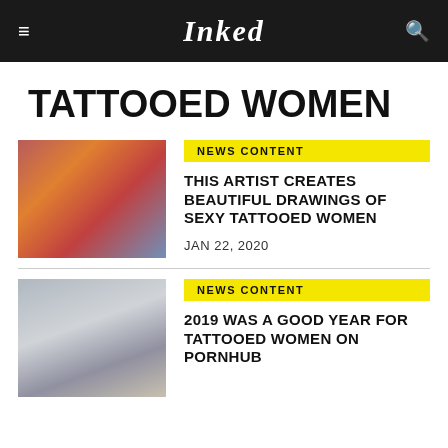Inked
TATTOOED WOMEN
[Figure (photo): Tattooed woman with red hair, colorful tattoos, flanked by other tattooed women]
NEWS CONTENT
THIS ARTIST CREATES BEAUTIFUL DRAWINGS OF SEXY TATTOOED WOMEN
JAN 22, 2020
[Figure (photo): Blonde tattooed woman in black lingerie outdoors]
NEWS CONTENT
2019 WAS A GOOD YEAR FOR TATTOOED WOMEN ON PORNHUB